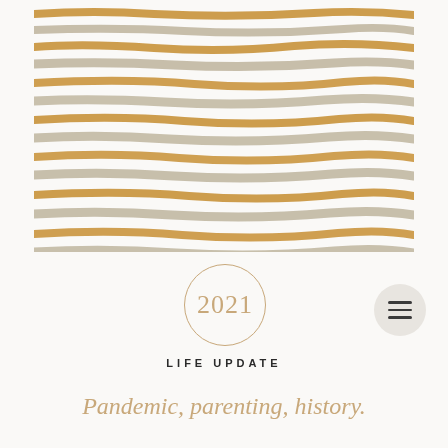[Figure (illustration): Decorative hand-painted horizontal stripes alternating between warm golden/amber and muted taupe/beige tones on a cream background, arranged in parallel rows across the upper portion of the page.]
2021
LIFE UPDATE
Pandemic, parenting, history.